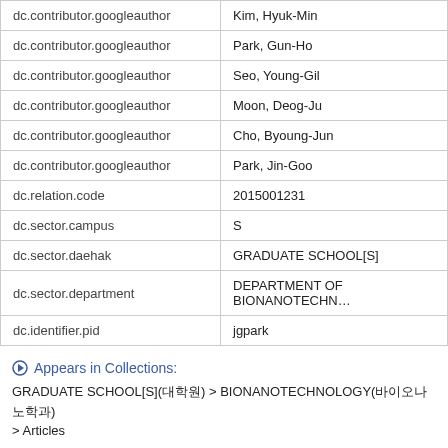| dc.contributor.googleauthor | Kim, Hyuk-Min |
| dc.contributor.googleauthor | Park, Gun-Ho |
| dc.contributor.googleauthor | Seo, Young-Gil |
| dc.contributor.googleauthor | Moon, Deog-Ju |
| dc.contributor.googleauthor | Cho, Byoung-Jun |
| dc.contributor.googleauthor | Park, Jin-Goo |
| dc.relation.code | 2015001231 |
| dc.sector.campus | S |
| dc.sector.daehak | GRADUATE SCHOOL[S] |
| dc.sector.department | DEPARTMENT OF BIONANOTECHN… |
| dc.identifier.pid | jgpark |
Appears in Collections:
GRADUATE SCHOOL[S](대학원) > BIONANOTECHNOLOGY(바이오나노학과) > Articles
Files in This Item: